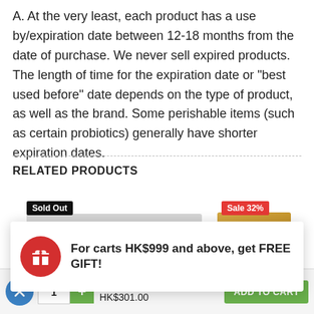A. At the very least, each product has a use by/expiration date between 12-18 months from the date of purchase. We never sell expired products. The length of time for the expiration date or "best used before" date depends on the type of product, as well as the brand. Some perishable items (such as certain probiotics) generally have shorter expiration dates.
RELATED PRODUCTS
[Figure (screenshot): E-commerce product listing with Sold Out badge on left product and Sale 32% badge on right product (Schwarzkopf brand box visible)]
[Figure (infographic): Popup notification with red gift icon and text: For carts HK$999 and above, get FREE GIFT!]
For carts HK$999 and above, get FREE GIFT!
Seven Wonders Moroccan Treatment Oil 125mL
HK$423.00  HK$301.00
ADD TO CART